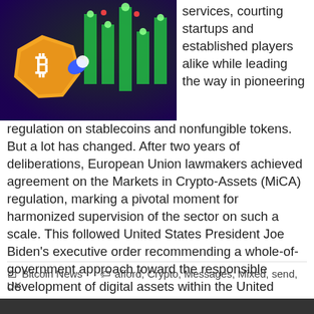[Figure (illustration): Crypto-themed illustration showing a golden bitcoin coin character and green glowing bars/candles against a purple and dark background with colored lights]
services, courting startups and established players alike while leading the way in pioneering regulation on stablecoins and nonfungible tokens. But a lot has changed. After two years of deliberations, European Union lawmakers achieved agreement on the Markets in Crypto-Assets (MiCA) regulation, marking a pivotal moment for harmonized supervision of the sector on such a scale. This followed United States President Joe Biden's executive order recommending a whole-of-government approach toward the responsible development of digital assets within the United States. The U.K....
READ MORE
Bitcoin News   afford, Crypto, Messages, Mixed, send, UK